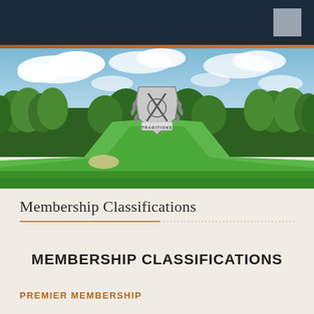[Figure (photo): Aerial view of a golf course fairway with green trees, blue sky with clouds, and a Traditions golf club crest/logo overlaid in the center]
Membership Classifications
MEMBERSHIP CLASSIFICATIONS
PREMIER MEMBERSHIP